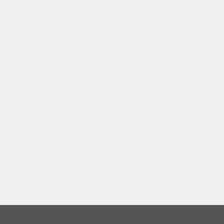Sure Shot HD, SWTPC 6800, Tatung Einstein, Tektronix 4, Telstar Arcade, Thomson M, TI-99/4A, Tiki 100, TIM, Tin, Tizen, Tomy Tutor, TRS-80, TRS-80 MC-10, TurboGrafx, TurboGrafx CD, tvOS, V.Fla 20, VideoBrain, Videopac+, Wang 2200, Wii, Wii U, Win, Windows 3.x, Windows App, Windows Mobile, Windows, XaviXPORT, Xbox, Xbox 36, Xbox Series, Xerox Alto, Ze, ZX80, ZX81, ZX Spectrum, ZX Spectrum Next
| Game Title | Year | Publisher |
| --- | --- | --- |
| Concept Game | 1978 | Programmers Publishing Co. |
| Ping Pong | 1977 | HP-65 Users' Club |